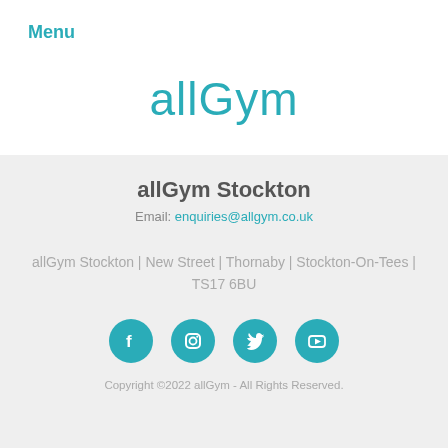Menu
allGym
allGym Stockton
Email: enquiries@allgym.co.uk
allGym Stockton | New Street | Thornaby | Stockton-On-Tees | TS17 6BU
[Figure (illustration): Social media icons: Facebook, Instagram, Twitter, YouTube — teal circular buttons]
Copyright ©2022 allGym - All Rights Reserved.